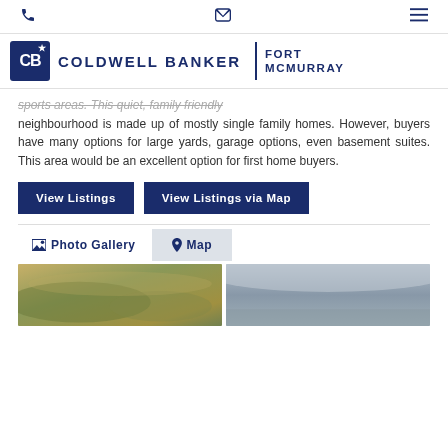☎ ✉ ☰
[Figure (logo): Coldwell Banker Fort McMurray logo with navy blue square CB icon, brand name COLDWELL BANKER, vertical divider, and FORT MCMURRAY text]
sports areas. This quiet, family friendly neighbourhood is made up of mostly single family homes. However, buyers have many options for large yards, garage options, even basement suites. This area would be an excellent option for first home buyers.
View Listings
View Listings via Map
Photo Gallery   Map
[Figure (photo): Aerial photograph of neighbourhood with autumn foliage, yellow and green landscape]
[Figure (photo): Aerial photograph of open landscape with cloudy sky]